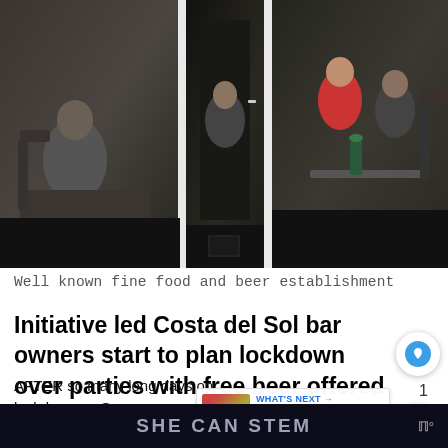[Figure (photo): Photo of people sitting inside a bar/restaurant establishment viewed through glass windows/doors, dark interior with multiple patrons visible]
Well known fine food and beer establishment
Initiative led Costa del Sol bar owners start to plan lockdown over parties with free beer offered to celebrate.
AFTER so many long days on lockdown as Spain followed the State of Alarm regulations now on day 25, Costa del Sol bar owners are starting to plan ‘lockdown over’ parties
WHAT'S NEXT → Costa del Sol 3 - 9...
SHE CAN STEM